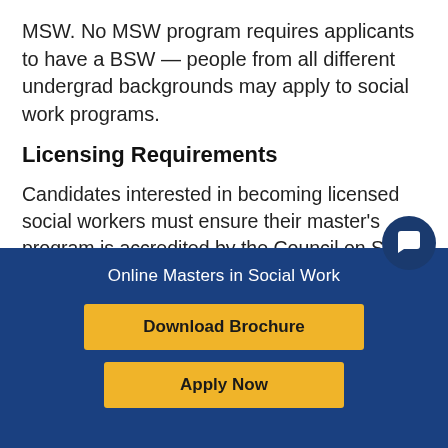MSW. No MSW program requires applicants to have a BSW — people from all different undergrad backgrounds may apply to social work programs.
Licensing Requirements
Candidates interested in becoming licensed social workers must ensure their master's program is accredited by the Council on Social Work Education (CSWE). After completing an MSW, graduates must also undergo approximately two years of supervised practice within a clinical setting, then pass an exam approved by the Association of Social Work Boards
Online Masters in Social Work
Download Brochure
Apply Now